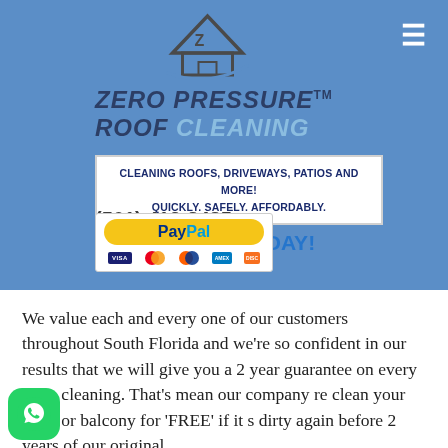[Figure (logo): Zero Pressure Roof Cleaning logo with house/roof icon and swoosh]
ZERO PRESSURE™ ROOF CLEANING
CLEANING ROOFS, DRIVEWAYS, PATIOS AND MORE! QUICKLY. SAFELY. AFFORDABLY.
(561) 412-8485
CONTACT US TODAY!
[Figure (other): PayPal payment button with credit card logos: Visa, Mastercard, Mastercard, American Express, Discover]
We value each and every one of our customers throughout South Florida and we're so confident in our results that we will give you a 2 year guarantee on every patio cleaning. That's mean our company re clean your patio or balcony for 'FREE' if it s dirty again before 2 years of our original